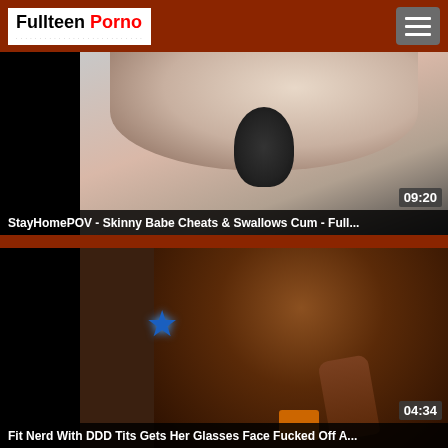[Figure (screenshot): Website header with 'Fullteen Porno' logo in white box on dark red background, hamburger menu button top right]
[Figure (screenshot): Video thumbnail showing close-up content with duration 09:20, title: StayHomePOV - Skinny Babe Cheats & Swallows Cum - Full...]
[Figure (screenshot): Video thumbnail showing dark scene with blue star graphic, duration 04:34, title: Fit Nerd With DDD Tits Gets Her Glasses Face Fucked Off A...]